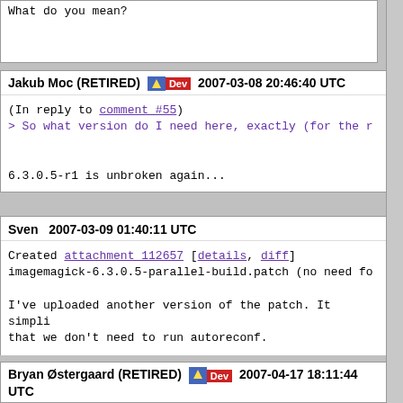What do you mean?
Jakub Moc (RETIRED) [Dev] 2007-03-08 20:46:40 UTC
(In reply to comment #55)
> So what version do I need here, exactly (for the r

6.3.0.5-r1 is unbroken again...
Sven 2007-03-09 01:40:11 UTC
Created attachment 112657 [details, diff]
imagemagick-6.3.0.5-parallel-build.patch (no need fo

I've uploaded another version of the patch. It simpli
that we don't need to run autoreconf.

Well, the current ebuild is fine. Just in case that a
Bryan Østergaard (RETIRED) [Dev] 2007-04-17 18:11:44 UTC
parallel-build.patch have been upstreamed and there'
autoreconf in 6.3.3. Please reopen this bug if it st.